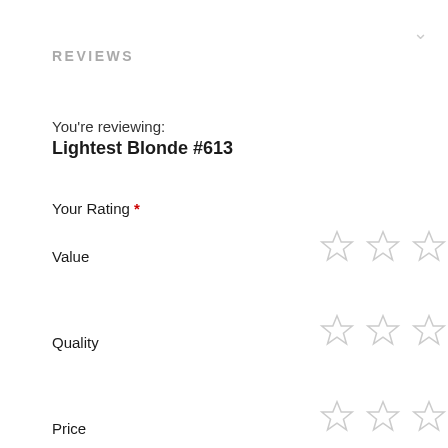REVIEWS
You're reviewing:
Lightest Blonde #613
Your Rating *
Value
Quality
Price
Nickname *